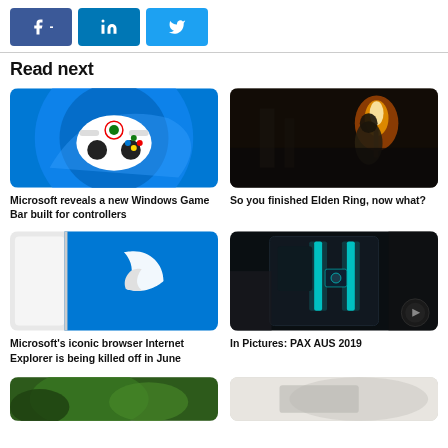[Figure (other): Social media share buttons: Facebook, LinkedIn, Twitter]
Read next
[Figure (photo): White Xbox controller on blue Windows 11 background]
Microsoft reveals a new Windows Game Bar built for controllers
[Figure (photo): Dark fantasy game scene - character holding a torch flame, Elden Ring]
So you finished Elden Ring, now what?
[Figure (photo): Microsoft Edge browser logo on a blue and white device]
Microsoft's iconic browser Internet Explorer is being killed off in June
[Figure (photo): Gaming PC with teal RGB lighting inside case, PAX AUS 2019]
In Pictures: PAX AUS 2019
[Figure (photo): Partially visible image at bottom left - green/nature tones]
[Figure (photo): Partially visible image at bottom right - light/silver tones]